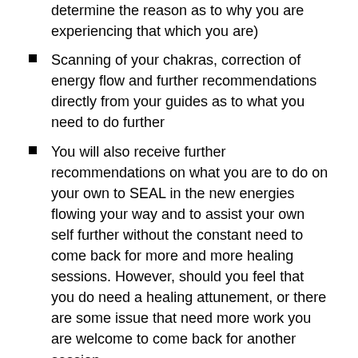determine the reason as to why you are experiencing that which you are)
Scanning of your chakras, correction of energy flow and further recommendations directly from your guides as to what you need to do further
You will also receive further recommendations on what you are to do on your own to SEAL in the new energies flowing your way and to assist your own self further without the constant need to come back for more and more healing sessions. However, should you feel that you do need a healing attunement, or there are some issue that need more work you are welcome to come back for another session.
To learn more about this session and hear what others have to say about it please visit:https://sacredascensionmerkaba.wordpress.com/merk